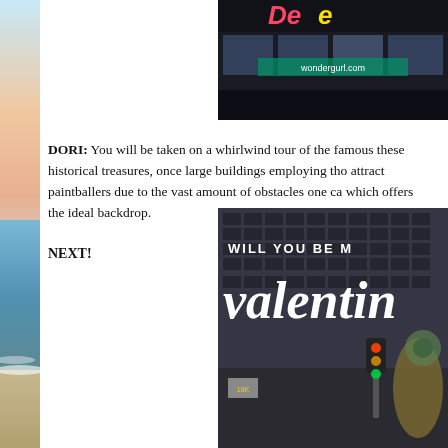[Figure (photo): Beach/ocean scene strip on the left side of the page, showing water and colorful sky]
[Figure (photo): Top right image showing a storefront with neon sign reading 'wondergurl.com']
DORI:  You will be taken on a whirlwind tour of the famous these historical treasures, once large buildings employing tho attract paintballers due to the vast amount of obstacles one ca which offers the ideal backdrop.
NEXT!
[Figure (photo): Bottom right image showing a city street scene with overlaid text reading 'WILL YOU BE M' and 'valentine' in large white serif font]